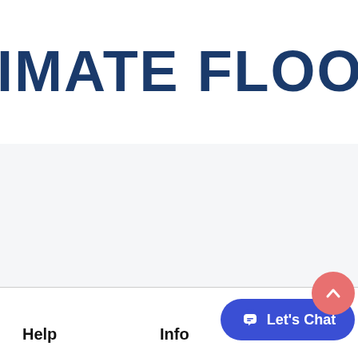IMATE FLOORING EXP
[Figure (screenshot): Light grey content area placeholder]
Help   Info
[Figure (other): Blue rounded Let's Chat button with chat bubble icon]
[Figure (other): Pink/red circular scroll-to-top button with chevron up icon]